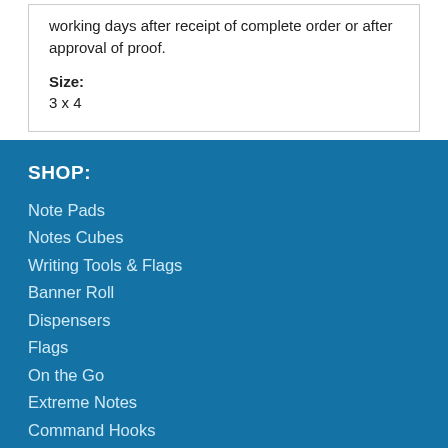working days after receipt of complete order or after approval of proof.
Size: 3 x 4
SHOP:
Note Pads
Notes Cubes
Writing Tools & Flags
Banner Roll
Dispensers
Flags
On the Go
Extreme Notes
Command Hooks